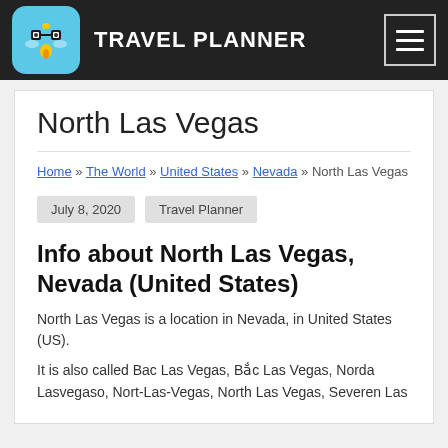TRAVEL PLANNER
North Las Vegas
Home » The World » United States » Nevada » North Las Vegas
July 8, 2020   Travel Planner
Info about North Las Vegas, Nevada (United States)
North Las Vegas is a location in Nevada, in United States (US).
It is also called Bac Las Vegas, Bắc Las Vegas, Norda Lasvegaso, Nort-Las-Vegas, North Las Vegas, Severen Las